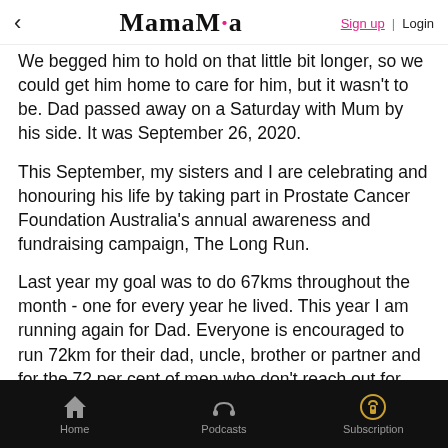< MamaMia  Sign up | Login
We begged him to hold on that little bit longer, so we could get him home to care for him, but it wasn't to be. Dad passed away on a Saturday with Mum by his side. It was September 26, 2020.
This September, my sisters and I are celebrating and honouring his life by taking part in Prostate Cancer Foundation Australia's annual awareness and fundraising campaign, The Long Run.
Last year my goal was to do 67kms throughout the month - one for every year he lived. This year I am running again for Dad. Everyone is encouraged to run 72km for their dad, uncle, brother or partner and for the 72 per cent of men who don't reach out for help.
Home | Podcasts | Subscription